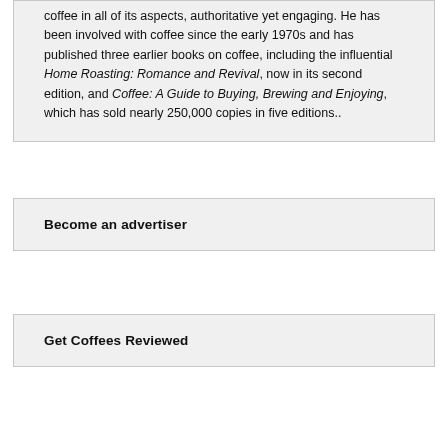coffee in all of its aspects, authoritative yet engaging. He has been involved with coffee since the early 1970s and has published three earlier books on coffee, including the influential Home Roasting: Romance and Revival, now in its second edition, and Coffee: A Guide to Buying, Brewing and Enjoying, which has sold nearly 250,000 copies in five editions..
Become an advertiser
Get Coffees Reviewed